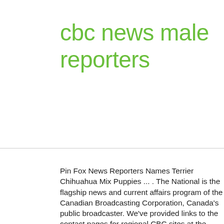cbc news male reporters
Pin Fox News Reporters Names Terrier Chihuahua Mix Puppies ... . The National is the flagship news and current affairs program of the Canadian Broadcasting Corporation, Canada's public broadcaster. We've provided links to the contact pages for regional CBC sites at the bottom of this page. News tips and local story coverage. 3 hours ago. She was a total overachieving keener. Fox News Host: “Go Try And Hire A Male Journalist — You ... . Female reporters with addrem earn an average of $99,484; male reporters with addrem earn $96,126 on average. Opposition parties and election observers have expressed concerns the vote won't be free or fair.Uganda is due to hold presidential and parliamentary elections ...